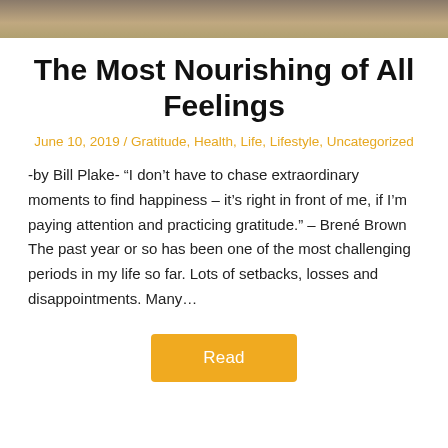[Figure (photo): Top portion of a photo, showing what appears to be an animal or surface, cropped at the top of the page.]
The Most Nourishing of All Feelings
June 10, 2019 / Gratitude, Health, Life, Lifestyle, Uncategorized
-by Bill Plake- “I don’t have to chase extraordinary moments to find happiness – it’s right in front of me, if I’m paying attention and practicing gratitude.” – Brené Brown The past year or so has been one of the most challenging periods in my life so far. Lots of setbacks, losses and disappointments. Many…
Read